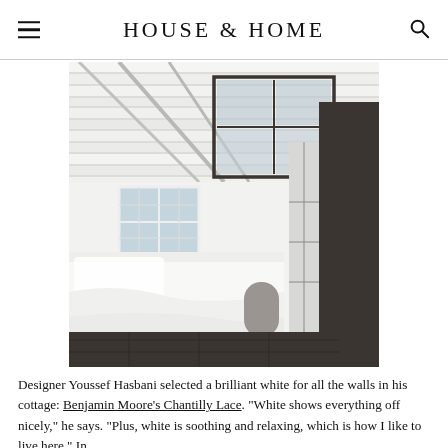HOUSE & HOME
[Figure (photo): Interior of a white cottage bedroom with a vaulted ceiling, skylights open on hinges, white bedding, dark wood floors, a small metallic side table, and French doors with multiple panes showing trees and a lake outside.]
Designer Youssef Hasbani selected a brilliant white for all the walls in his cottage: Benjamin Moore's Chantilly Lace. "White shows everything off nicely," he says. "Plus, white is soothing and relaxing, which is how I like to live here." In